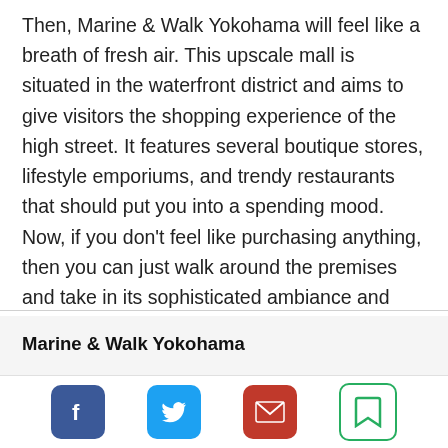Then, Marine & Walk Yokohama will feel like a breath of fresh air. This upscale mall is situated in the waterfront district and aims to give visitors the shopping experience of the high street. It features several boutique stores, lifestyle emporiums, and trendy restaurants that should put you into a spending mood. Now, if you don't feel like purchasing anything, then you can just walk around the premises and take in its sophisticated ambiance and charm.
Marine & Walk Yokohama
Address: 1 Chome-3-1 Shinko, Naka Ward, Yokohama, Kanagawa 231-0001, Japan
Website: Marine & Walk Yokohama
Opening Hours: